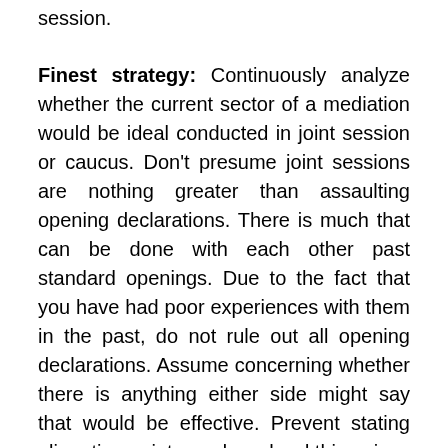session.
Finest strategy: Continuously analyze whether the current sector of a mediation would be ideal conducted in joint session or caucus. Don't presume joint sessions are nothing greater than assaulting opening declarations. There is much that can be done with each other past standard openings. Due to the fact that you have had poor experiences with them in the past, do not rule out all opening declarations. Assume concerning whether there is anything either side might say that would be effective. Prevent stating alienating points, and say hard things in